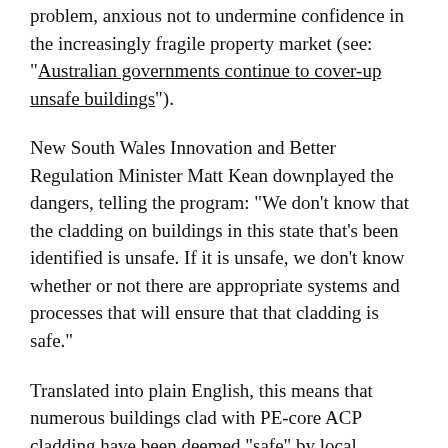…[Australian authorities have covered up the scale of the] problem, anxious not to undermine confidence in the increasingly fragile property market (see: "Australian governments continue to cover-up unsafe buildings").
New South Wales Innovation and Better Regulation Minister Matt Kean downplayed the dangers, telling the program: "We don't know that the cladding on buildings in this state that's been identified is unsafe. If it is unsafe, we don't know whether or not there are appropriate systems and processes that will ensure that that cladding is safe."
Translated into plain English, this means that numerous buildings clad with PE-core ACP cladding have been deemed "safe" by local government regulators in order to avoid its removal.
Several firefighters spoke about the Lacrosse blaze, [continuing below]